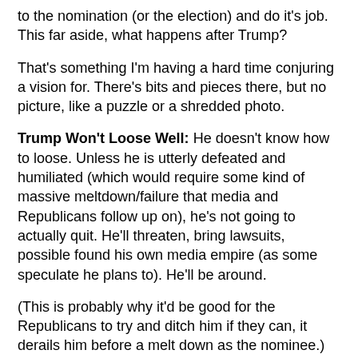to the nomination (or the election) and do it's job.  This far aside, what happens after Trump?
That's something I'm having a hard time conjuring a vision for.  There's bits and pieces there, but no picture, like a puzzle or a shredded photo.
Trump Won't Loose Well: He doesn't know how to loose.  Unless he is utterly defeated and humiliated (which would require some kind of massive meltdown/failure that media and Republicans follow up on), he's not going to actually quit.  He'll threaten, bring lawsuits, possible found his own media empire (as some speculate he plans to).  He'll be around.
(This is probably why it'd be good for the Republicans to try and ditch him if they can, it derails him before a melt down as the nominee.)
He's Got Angry Followers: Enough said.  I'm honestly nervous about what'll happen in Cleveland, though I assume my worries are overblown – until the Dallas debacle.  But these are people who won't react well to his loss, and will probably back him as he